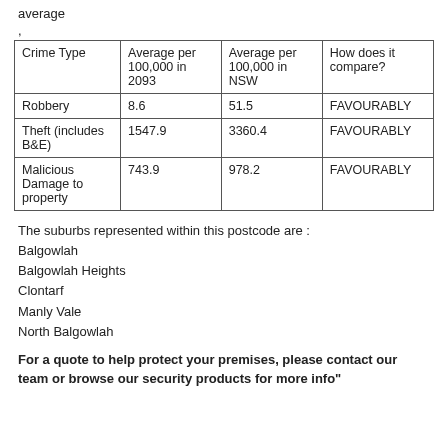average
,
| Crime Type | Average per 100,000 in 2093 | Average per 100,000 in NSW | How does it compare? |
| --- | --- | --- | --- |
| Robbery | 8.6 | 51.5 | FAVOURABLY |
| Theft (includes B&E) | 1547.9 | 3360.4 | FAVOURABLY |
| Malicious Damage to property | 743.9 | 978.2 | FAVOURABLY |
The suburbs represented within this postcode are :
Balgowlah
Balgowlah Heights
Clontarf
Manly Vale
North Balgowlah
For a quote to help protect your premises, please contact our team or browse our security products for more info"